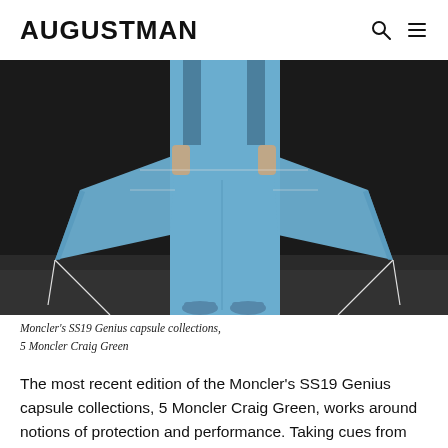AUGUSTMAN
[Figure (photo): A fashion photo showing a model from torso down wearing a blue outfit with wide-leg trousers and decorative kite-like panels or wings extending from the sides, with tasseled strings, against a dark background. Blue shoes are visible at the bottom.]
Moncler's SS19 Genius capsule collections, 5 Moncler Craig Green
The most recent edition of the Moncler's SS19 Genius capsule collections, 5 Moncler Craig Green, works around notions of protection and performance. Taking cues from tents and kites, the collection